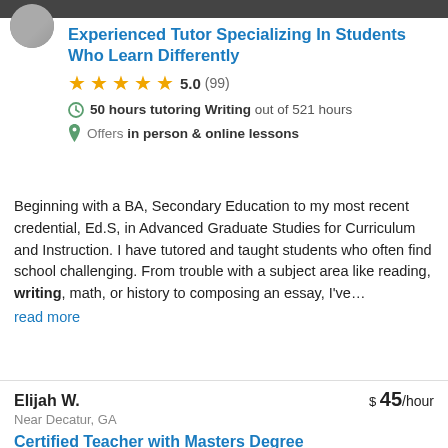Experienced Tutor Specializing In Students Who Learn Differently
5.0 (99)
50 hours tutoring Writing out of 521 hours
Offers in person & online lessons
Beginning with a BA, Secondary Education to my most recent credential, Ed.S, in Advanced Graduate Studies for Curriculum and Instruction. I have tutored and taught students who often find school challenging. From trouble with a subject area like reading, writing, math, or history to composing an essay, I've…
read more
Elijah W.   $ 45/hour
Near Decatur, GA
Certified Teacher with Masters Degree
4.9 (26)